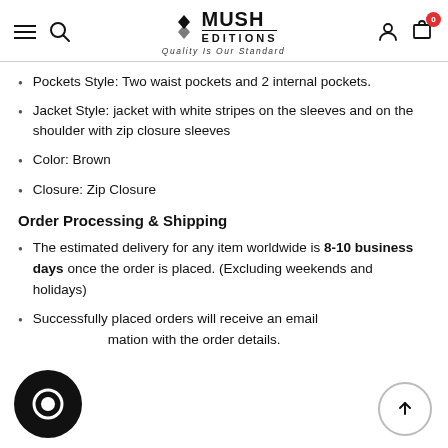MUSH EDITIONS — Quality Is Our Standard
Pockets Style: Two waist pockets and 2 internal pockets.
Jacket Style: jacket with white stripes on the sleeves and on the shoulder with zip closure sleeves
Color: Brown
Closure: Zip Closure
Order Processing & Shipping
The estimated delivery for any item worldwide is 8-10 business days once the order is placed. (Excluding weekends and holidays)
Successfully placed orders will receive an email confirmation with the order details.